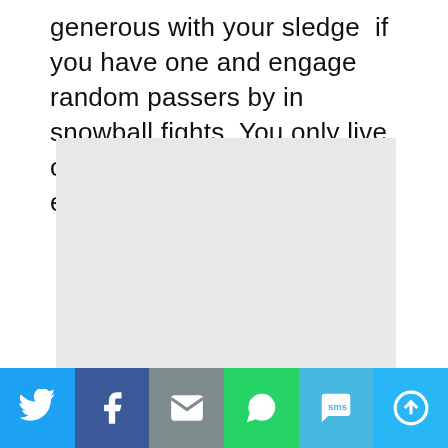generous with your sledge  if you have one and engage random passers by in snowball fights. You only live once, after all... and those emails will wait. I promise!
[Figure (other): Gray placeholder rectangle (advertisement or image placeholder)]
[Figure (infographic): Social share bar with six buttons: Twitter (blue), Facebook (dark blue), Email (gray), WhatsApp (green), SMS (light blue), More/MeWe (sky blue)]